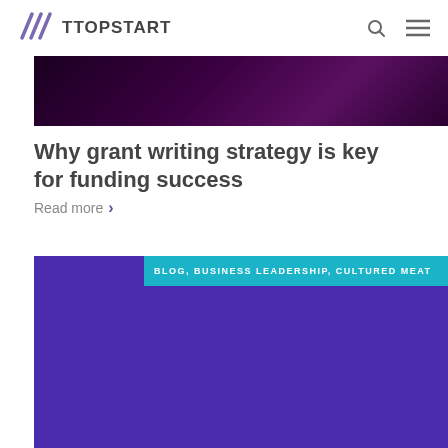TTOPSTART
[Figure (photo): Dark purple/maroon abstract background image banner]
Why grant writing strategy is key for funding success
Read more >
[Figure (photo): Purple card with teal tag bar reading: BLOG, BUSINESS LEADERSHIP, CULTURED MEAT]